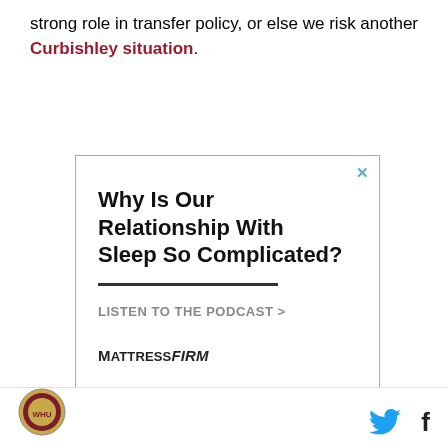strong role in transfer policy, or else we risk another Curbishley situation.
[Figure (other): Advertisement for Mattress Firm podcast: 'Why Is Our Relationship With Sleep So Complicated? LISTEN TO THE PODCAST >' with Mattress Firm logo and a close (x) button.]
Crucially, the negotiations with Brentford started before
West Ham logo, Twitter icon, Facebook icon